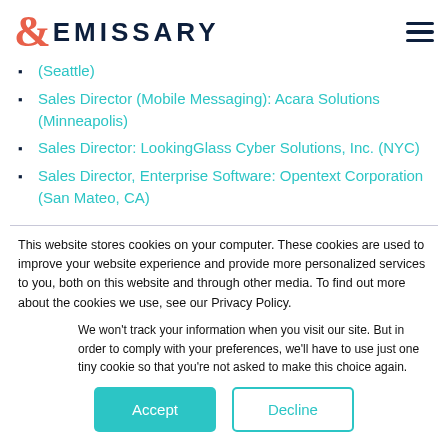& EMISSARY
(Seattle)
Sales Director (Mobile Messaging): Acara Solutions (Minneapolis)
Sales Director: LookingGlass Cyber Solutions, Inc. (NYC)
Sales Director, Enterprise Software: Opentext Corporation (San Mateo, CA)
This website stores cookies on your computer. These cookies are used to improve your website experience and provide more personalized services to you, both on this website and through other media. To find out more about the cookies we use, see our Privacy Policy.
We won't track your information when you visit our site. But in order to comply with your preferences, we'll have to use just one tiny cookie so that you're not asked to make this choice again.